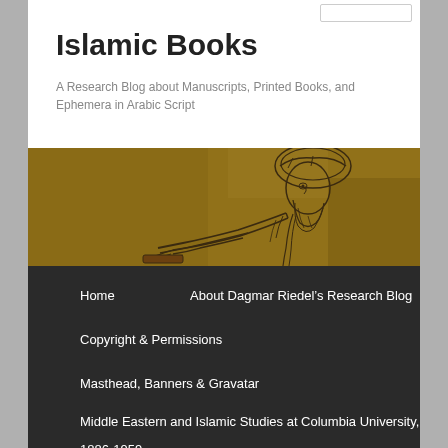Islamic Books
A Research Blog about Manuscripts, Printed Books, and Ephemera in Arabic Script
[Figure (illustration): A historical manuscript illustration showing a bearded man in a turban leaning forward, depicted in a sepia/brown toned ink drawing style on aged parchment background]
Home
About Dagmar Riedel’s Research Blog
Copyright & Permissions
Masthead, Banners & Gravatar
Middle Eastern and Islamic Studies at Columbia University,
1886-1959